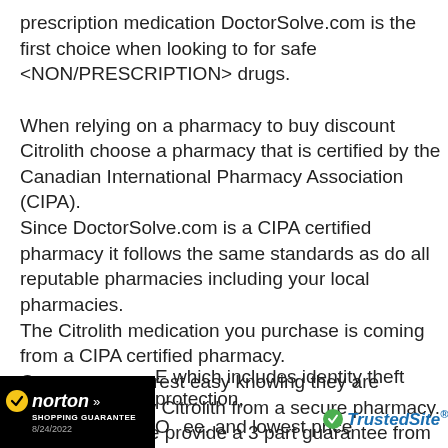prescription medication DoctorSolve.com is the first choice when looking to for safe <NON/PRESCRIPTION> drugs.

When relying on a pharmacy to buy discount Citrolith choose a pharmacy that is certified by the Canadian International Pharmacy Association (CIPA).
Since DoctorSolve.com is a CIPA certified pharmacy it follows the same standards as do all reputable pharmacies including your local pharmacies.
The Citrolith medication you purchase is coming from a CIPA certified pharmacy.
Customers can rest easy knowing they are receiving quality Citrolith from a secure pharmacy.
Furthermore, we provide a 3 part guarantee from [Norton] which includes identity theft protection, [TrustedSite] ee, and lowest price
[Figure (logo): Norton Shopping Guarantee badge — black background with yellow checkmark circle, 'norton' in white italic bold text, 'SHOPPING GUARANTEE' subtitle, date 8/24/2022]
[Figure (logo): TrustedSite green checkmark logo with blue italic bold 'TrustedSite' text and superscript registered trademark dot]